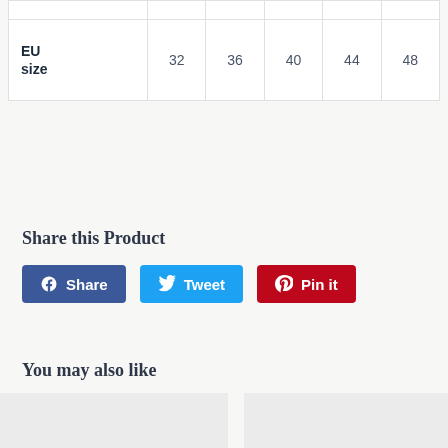| EU size | 32 | 36 | 40 | 44 | 48 |
| --- | --- | --- | --- | --- | --- |
|  |  |  |  |  |  |
Share this Product
[Figure (infographic): Three social share buttons: Facebook Share (blue), Twitter Tweet (light blue), Pinterest Pin it (red)]
You may also like
[Figure (photo): Left product image placeholder (light grey)]
[Figure (photo): Right product image placeholder (light grey)]